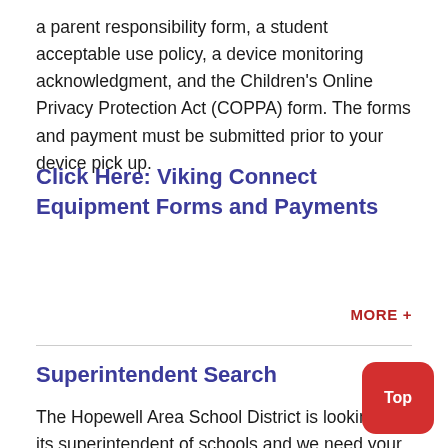a parent responsibility form, a student acceptable use policy, a device monitoring acknowledgment, and the Children's Online Privacy Protection Act (COPPA) form. The forms and payment must be submitted prior to your device pick up.
Click Here: Viking Connect Equipment Forms and Payments
MORE +
Superintendent Search
The Hopewell Area School District is looking for its superintendent of schools and we need your voice! complete the Community Stakeholder Survey to aid us in